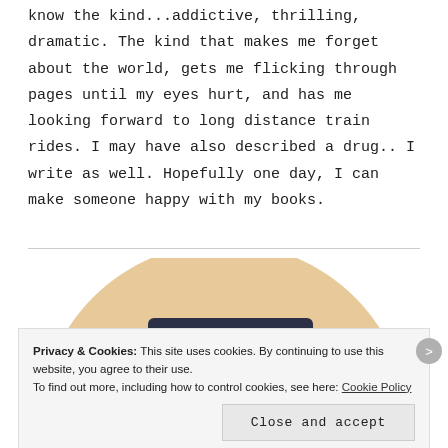know the kind...addictive, thrilling, dramatic. The kind that makes me forget about the world, gets me flicking through pages until my eyes hurt, and has me looking forward to long distance train rides. I may have also described a drug.. I write as well. Hopefully one day, I can make someone happy with my books.
[Figure (illustration): Partial circular illustration with a light peach/tan background and dark navy blue rectangular shape (suggesting a book) in the center, partially visible]
Privacy & Cookies: This site uses cookies. By continuing to use this website, you agree to their use.
To find out more, including how to control cookies, see here: Cookie Policy
Close and accept